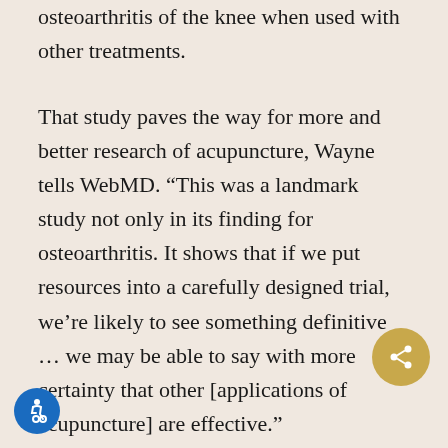osteoarthritis of the knee when used with other treatments.
That study paves the way for more and better research of acupuncture, Wayne tells WebMD. “This was a landmark study not only in its finding for osteoarthritis. It shows that if we put resources into a carefully designed trial, we’re likely to see something definitive … we may be able to say with more certainty that other [applications of acupuncture] are effective.”